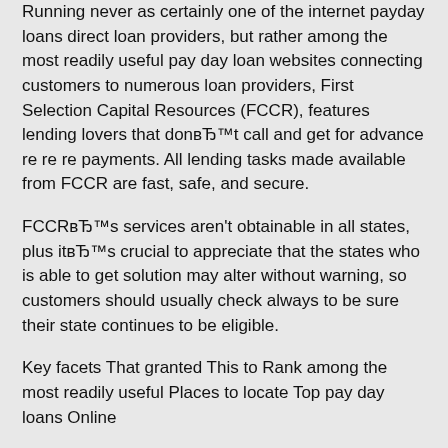Running never as certainly one of the internet payday loans direct loan providers, but rather among the most readily useful pay day loan websites connecting customers to numerous loan providers, First Selection Capital Resources (FCCR), features lending lovers that donвЂ™t call and get for advance re re re payments. All lending tasks made available from FCCR are fast, safe, and secure.
FCCRвЂ™s services aren't obtainable in all states, plus itвЂ™s crucial to appreciate that the states who is able to get solution may alter without warning, so customers should usually check always to be sure their state continues to be eligible.
Key facets That granted This to Rank among the most readily useful Places to locate Top pay day loans Online
Among payday loan providers online and also the most readily useful cash advance internet sites, listed here are some reasons FCCR had been most notable position.